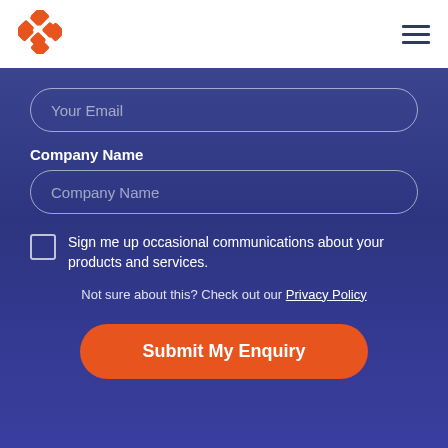[Figure (logo): Orange diamond/tile logo icon in top left header]
[Figure (other): Hamburger menu icon (three horizontal dark lines) in top right header]
Your Email
Company Name
Company Name
Sign me up occasional communications about your products and services.
Not sure about this? Check out our Privacy Policy
Submit My Enquiry